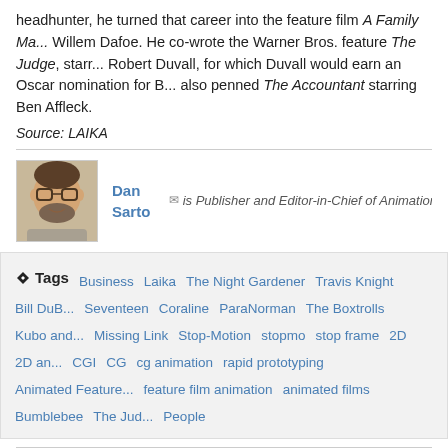headhunter, he turned that career into the feature film A Family Ma... Willem Dafoe. He co-wrote the Warner Bros. feature The Judge, starr... Robert Duvall, for which Duvall would earn an Oscar nomination for B... also penned The Accountant starring Ben Affleck.
Source: LAIKA
[Figure (photo): Headshot photo of Dan Sarto, a man with glasses and a beard, smiling.]
Dan Sarto is Publisher and Editor-in-Chief of Animation World Netw...
Tags: Business  Laika  The Night Gardener  Travis Knight  Bill DuB... Seventeen  Coraline  ParaNorman  The Boxtrolls  Kubo and... Missing Link  Stop-Motion  stopmo  stop frame  2D  2D an... CGI  CG  cg animation  rapid prototyping  Animated Feature... feature film animation  animated films  Bumblebee  The Jud... People
More From News:
| Next Post | Previous Post |
| --- | --- |